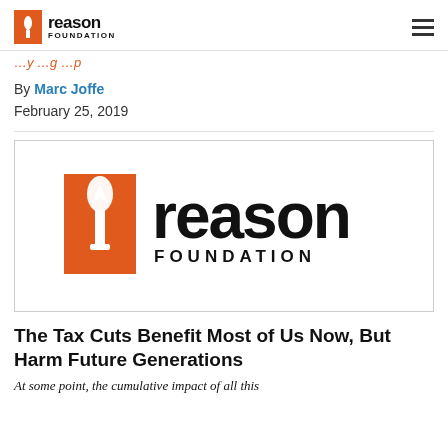Reason Foundation
By Marc Joffe
February 25, 2019
[Figure (logo): Reason Foundation logo — orange rectangle with white torch flame icon, beside bold text 'reason' and 'FOUNDATION']
The Tax Cuts Benefit Most of Us Now, But Harm Future Generations
At some point, the cumulative impact of all this